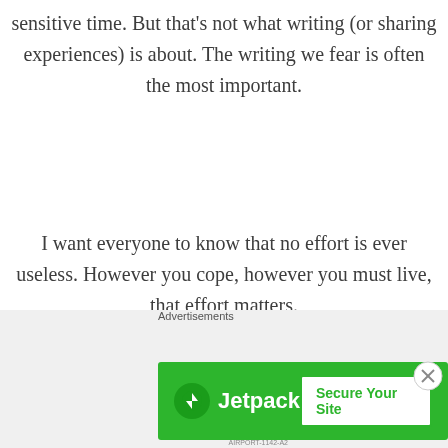sensitive time. But that's not what writing (or sharing experiences) is about. The writing we fear is often the most important.
I want everyone to know that no effort is ever useless. However you cope, however you must live, that effort matters.
Porker was worth it, so was Fluffy Tail, and the other babies.
[Figure (other): Advertisements section with Jetpack banner ad showing logo and 'Secure Your Site' button on green background]